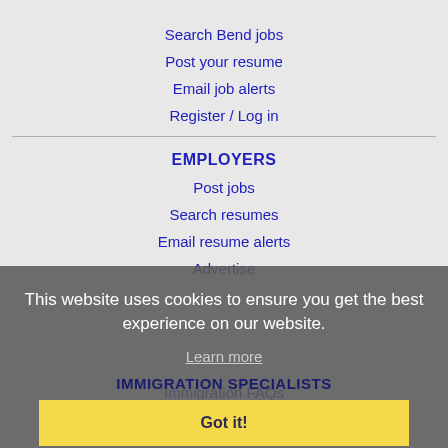Search Bend jobs
Post your resume
Email job alerts
Register / Log in
EMPLOYERS
Post jobs
Search resumes
Email resume alerts
Advertise
This website uses cookies to ensure you get the best experience on our website.
Learn more
IMMIGRATION SPECIALISTS
Got it!
Post jobs
Immigration FAQs
Learn more